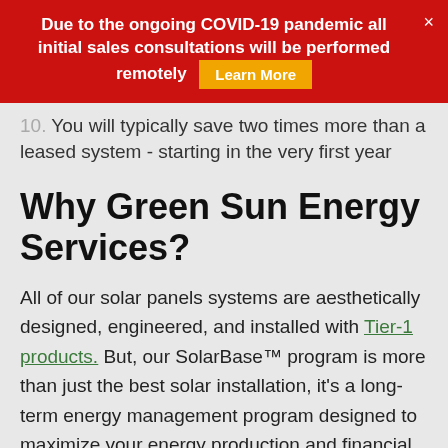Due to the ongoing COVID-19 pandemic all initial sales consultations will be performed remotely  Learn More  ×
10. You will typically save two times more than a leased system - starting in the very first year
Why Green Sun Energy Services?
All of our solar panels systems are aesthetically designed, engineered, and installed with Tier-1 products. But, our SolarBase™ program is more than just the best solar installation, it's a long-term energy management program designed to maximize your energy production and financial returns.